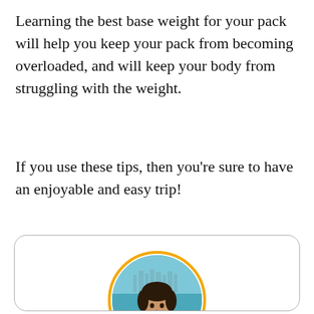Learning the best base weight for your pack will help you keep your pack from becoming overloaded, and will keep your body from struggling with the weight.
If you use these tips, then you're sure to have an enjoyable and easy trip!
[Figure (photo): A rounded card with a circular profile photo of a young man in a white shirt, with a city skyline and water visible in the background. The photo is framed with an orange/yellow ring border.]